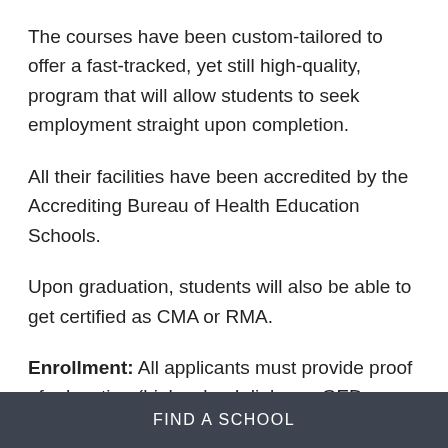The courses have been custom-tailored to offer a fast-tracked, yet still high-quality, program that will allow students to seek employment straight upon completion.
All their facilities have been accredited by the Accrediting Bureau of Health Education Schools.
Upon graduation, students will also be able to get certified as CMA or RMA.
Enrollment: All applicants must provide proof of education (high school diploma, GED, or
FIND A SCHOOL